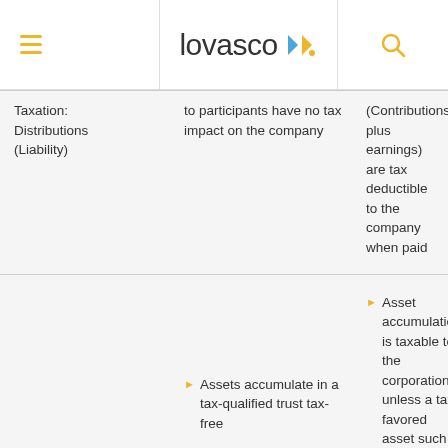lovasco
|  | Qualified Plans | Non-Qualified Plans |
| --- | --- | --- |
| Taxation: Distributions (Liability) | to participants have no tax impact on the company | (Contributions plus earnings) are tax deductible to the company when paid |
| Taxation: Assets (Funding) | Assets accumulate in a tax-qualified trust tax-free | Asset accumulation is taxable to the corporation unless a tax-favored asset such as corporate-owned life insurance (COLI) used, which accumulates tax deferred (tax-free if held until death) |